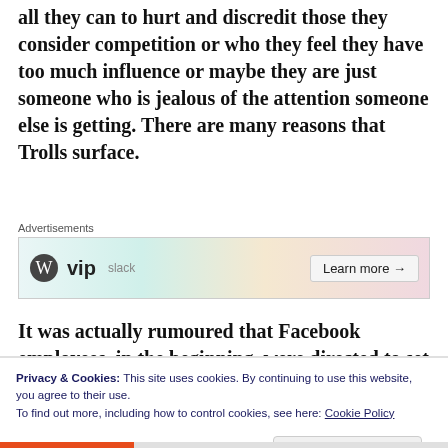other great site on the web, with Trolls and clones who do all they can to hurt and discredit those they consider competition or who they feel they have too much influence or maybe they are just someone who is jealous of the attention someone else is getting. There are many reasons that Trolls surface.
[Figure (other): WordPress VIP advertisement banner with slack and Facebook logos and 'Learn more' button]
It was actually rumoured that Facebook employees, in the beginning, were directed to set up Troll accounts on
Privacy & Cookies: This site uses cookies. By continuing to use this website, you agree to their use.
To find out more, including how to control cookies, see here: Cookie Policy